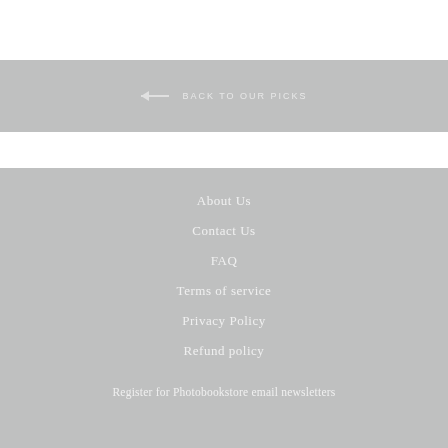← BACK TO OUR PICKS
About Us
Contact Us
FAQ
Terms of service
Privacy Policy
Refund policy
Register for Photobookstore email newsletters